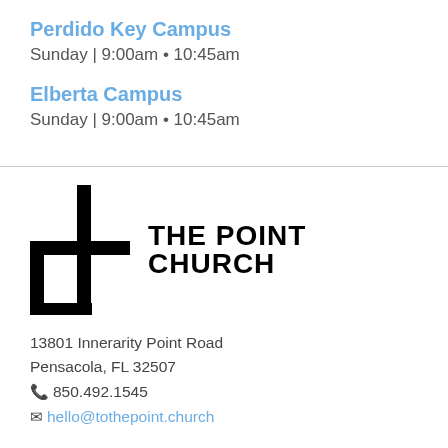Perdido Key Campus
Sunday | 9:00am • 10:45am
Elberta Campus
Sunday | 9:00am • 10:45am
[Figure (logo): The Point Church logo: a stylized cross/plus sign shape in black next to bold text reading THE POINT CHURCH]
13801 Innerarity Point Road
Pensacola, FL 32507
📞850.492.1545
✉hello@tothepoint.church